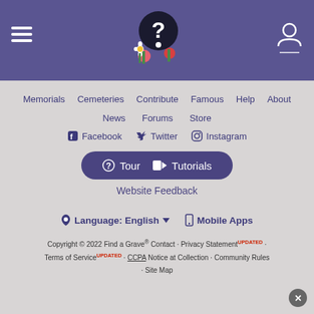Find a Grave site header with hamburger menu, logo, and user icon
Memorials · Cemeteries · Contribute · Famous · Help · About · News · Forums · Store
Facebook · Twitter · Instagram
? Tour  ▶ Tutorials
Website Feedback
Language: English ▾   Mobile Apps
Copyright © 2022 Find a Grave® Contact · Privacy Statement UPDATED · Terms of Service UPDATED · CCPA Notice at Collection · Community Rules · Site Map